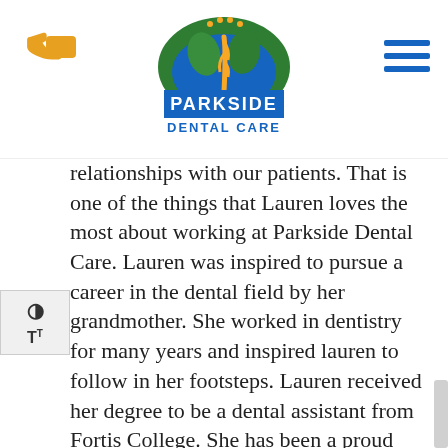Parkside Dental Care
relationships with our patients. That is one of the things that Lauren loves the most about working at Parkside Dental Care. Lauren was inspired to pursue a career in the dental field by her grandmother. She worked in dentistry for many years and inspired lauren to follow in her footsteps. Lauren received her degree to be a dental assistant from Fortis College. She has been a proud member of our team since August of 2019.
Lauren’s favorite part about being a dental assistant is helping people get the smile they want and deserve. She wants patients to know she understands that some might have a fear of coming